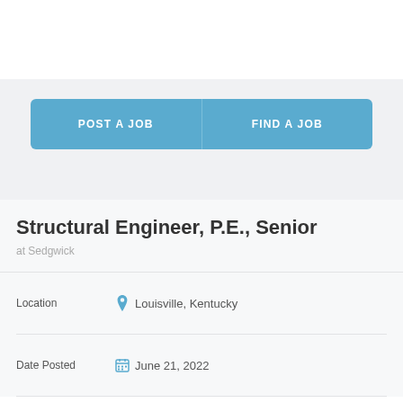[Figure (other): Two buttons side by side: POST A JOB and FIND A JOB, blue background]
Structural Engineer, P.E., Senior
at Sedgwick
Location   Louisville, Kentucky
Date Posted   June 21, 2022